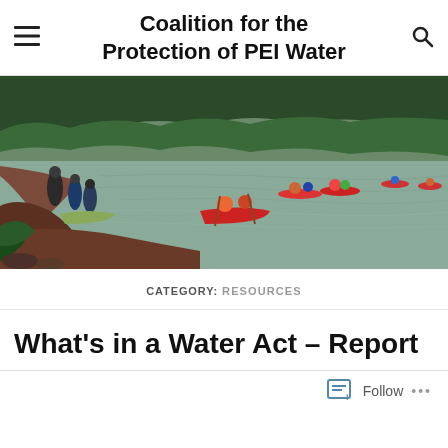Coalition for the Protection of PEI Water
[Figure (photo): People kayaking and canoeing on a red-clay river bordered by dense green forest. Several people stand on the shore on the left; multiple red kayaks and canoes are visible on the water.]
CATEGORY: RESOURCES
What’s in a Water Act – Report